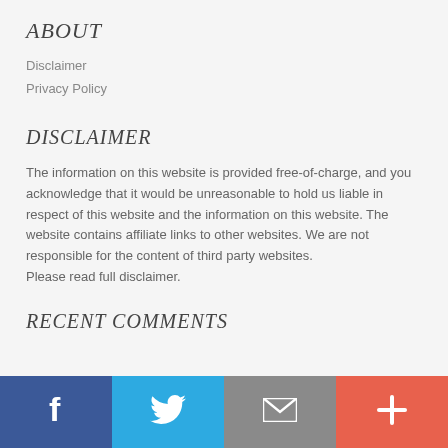ABOUT
Disclaimer
Privacy Policy
DISCLAIMER
The information on this website is provided free-of-charge, and you acknowledge that it would be unreasonable to hold us liable in respect of this website and the information on this website. The website contains affiliate links to other websites. We are not responsible for the content of third party websites.
Please read full disclaimer.
RECENT COMMENTS
[Figure (other): Footer bar with four social/action buttons: Facebook (blue), Twitter (light blue), Email/envelope (gray), Plus/more (orange-red)]